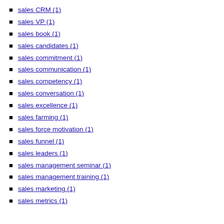sales CRM (1)
sales VP (1)
sales book (1)
sales candidates (1)
sales commitment (1)
sales communication (1)
sales competency (1)
sales conversation (1)
sales excellence (1)
sales farming (1)
sales force motivation (1)
sales funnel (1)
sales leaders (1)
sales management seminar (1)
sales management training (1)
sales marketing (1)
sales metrics (1)